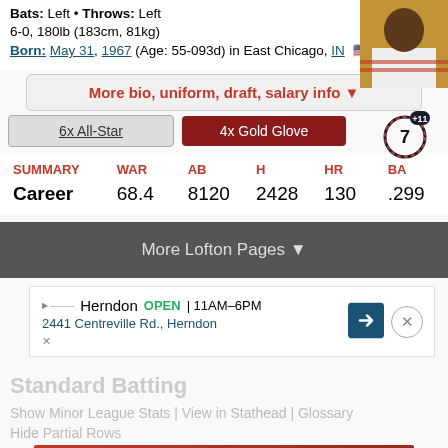Bats: Left • Throws: Left
6-0, 180lb (183cm, 81kg)
Born: May 31, 1967 (Age: 55-093d) in East Chicago, IN
[Figure (photo): Player headshot photo]
More bio, uniform, draft, salary info ▼
6x All-Star
4x Gold Glove
| SUMMARY | WAR | AB | H | HR | BA |
| --- | --- | --- | --- | --- | --- |
| Career | 68.4 | 8120 | 2428 | 130 | .299 |
More Lofton Pages ▼
Herndon OPEN | 11AM–6PM
2441 Centreville Rd., Herndon
Standard Batting
Show Minor League Stats | View in Stathead | Glossary
Hide Partial Rows
[Figure (photo): Macy's advertisement: KISS BORING LIPS GOODBYE — SHOP NOW]